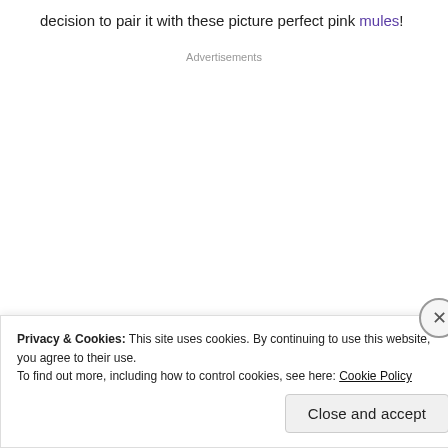decision to pair it with these picture perfect pink mules!
Advertisements
Privacy & Cookies: This site uses cookies. By continuing to use this website, you agree to their use.
To find out more, including how to control cookies, see here: Cookie Policy
Close and accept